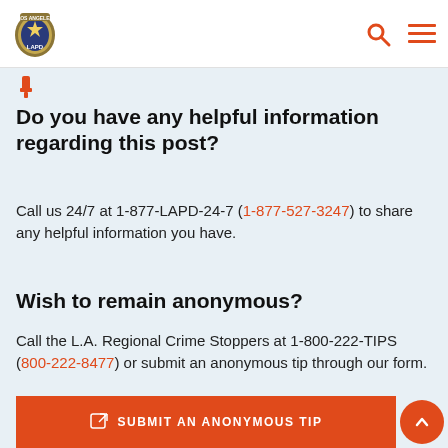LAPD
Do you have any helpful information regarding this post?
Call us 24/7 at 1-877-LAPD-24-7 (1-877-527-3247) to share any helpful information you have.
Wish to remain anonymous?
Call the L.A. Regional Crime Stoppers at 1-800-222-TIPS (800-222-8477) or submit an anonymous tip through our form.
SUBMIT AN ANONYMOUS TIP